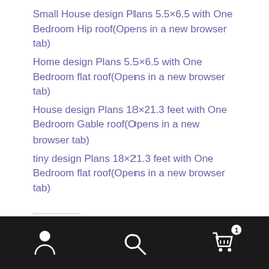Small House design Plans 5.5×6.5 with One Bedroom Hip roof(Opens in a new browser tab)
Home design Plans 5.5×6.5 with One Bedroom flat roof(Opens in a new browser tab)
House design Plans 18×21.3 feet with One Bedroom Gable roof(Opens in a new browser tab)
tiny design Plans 18×21.3 feet with One Bedroom flat roof(Opens in a new browser tab)
Related
[Figure (photo): Exterior photo of a house with hip/gable roof and greenery]
[Figure (photo): Exterior photo of a two-story house with trees]